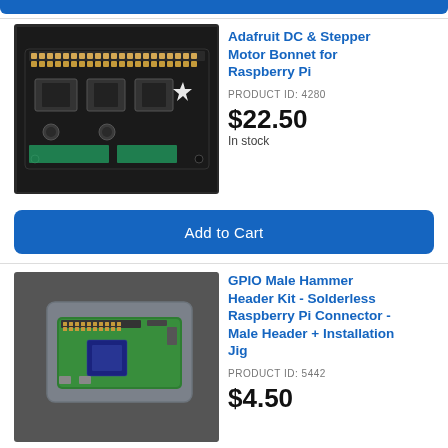[Figure (photo): Adafruit DC & Stepper Motor Bonnet for Raspberry Pi circuit board on dark background]
Adafruit DC & Stepper Motor Bonnet for Raspberry Pi
PRODUCT ID: 4280
$22.50
In stock
Add to Cart
[Figure (photo): GPIO Male Hammer Header Kit - Solderless Raspberry Pi Connector installed on Raspberry Pi Zero board in clear case]
GPIO Male Hammer Header Kit - Solderless Raspberry Pi Connector - Male Header + Installation Jig
PRODUCT ID: 5442
$4.50